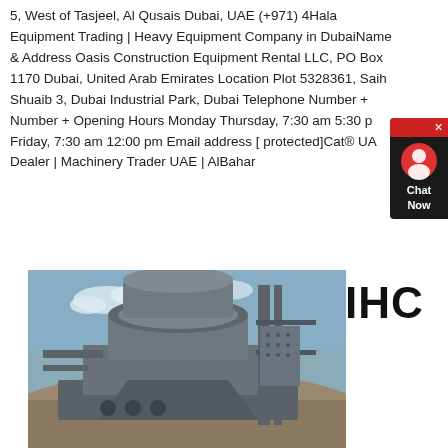5, West of Tasjeel, Al Qusais Dubai, UAE (+971) 4Hala Equipment Trading | Heavy Equipment Company in DubaiName & Address Oasis Construction Equipment Rental LLC, PO Box 1170 Dubai, United Arab Emirates Location Plot 5328361, Saih Shuaib 3, Dubai Industrial Park, Dubai Telephone Number + Number + Opening Hours Monday Thursday, 7:30 am 5:30 p Friday, 7:30 am 12:00 pm Email address [ protected]Cat® UA Dealer | Machinery Trader UAE | AlBahar
[Figure (photo): Industrial heavy equipment - appears to be a vertical shaft impact crusher or similar large industrial machinery, painted gray, photographed outdoors with blue sky and earthen mound in background.]
IHC